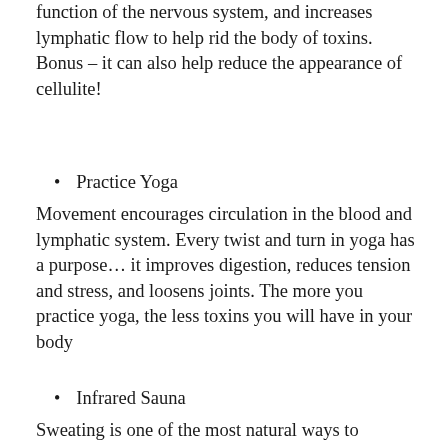function of the nervous system, and increases lymphatic flow to help rid the body of toxins. Bonus – it can also help reduce the appearance of cellulite!
Practice Yoga
Movement encourages circulation in the blood and lymphatic system. Every twist and turn in yoga has a purpose... it improves digestion, reduces tension and stress, and loosens joints. The more you practice yoga, the less toxins you will have in your body
Infrared Sauna
Sweating is one of the most natural ways to eliminate toxins. Saunas and steam rooms are great, but did you know infrared saunas help